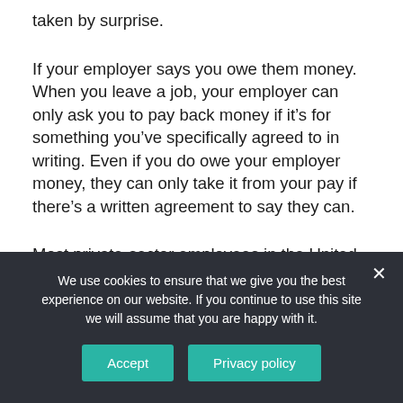taken by surprise.
If your employer says you owe them money. When you leave a job, your employer can only ask you to pay back money if it's for something you've specifically agreed to in writing. Even if you do owe your employer money, they can only take it from your pay if there's a written agreement to say they can.
Most private-sector employees in the United States are employed at-will, which means that their employers can terminate their job at any time, for
We use cookies to ensure that we give you the best experience on our website. If you continue to use this site we will assume that you are happy with it.